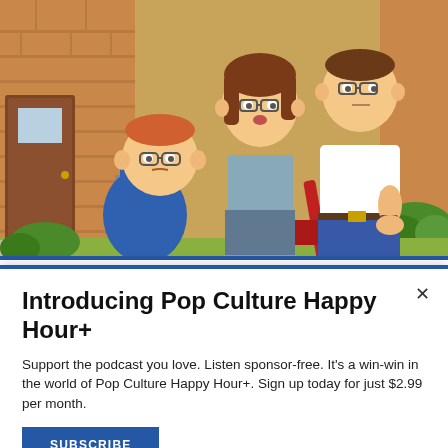[Figure (illustration): Animated cartoon scene from King of the Hill showing three characters (Bobby Hill in blue shirt, Peggy Hill in teal sleeveless top, and Hank Hill in white t-shirt) standing outdoors in front of a brick house with a lawn mower visible. Suburban neighborhood background.]
TV REVIEWS
Introducing Pop Culture Happy Hour+
Support the podcast you love. Listen sponsor-free. It's a win-win in the world of Pop Culture Happy Hour+. Sign up today for just $2.99 per month.
SUBSCRIBE